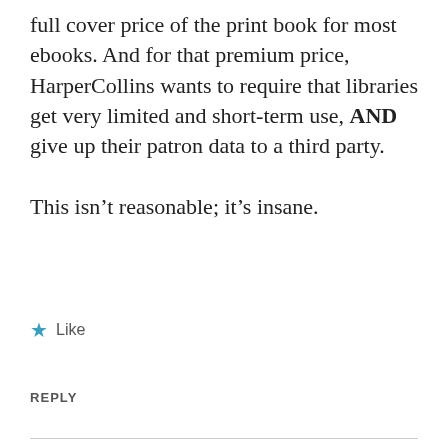full cover price of the print book for most ebooks. And for that premium price, HarperCollins wants to require that libraries get very limited and short-term use, AND give up their patron data to a third party.
This isn't reasonable; it's insane.
★ Like
REPLY
dequeued
FEBRUARY 26, 2011 AT 2:31 PM
As I have said in another comment, and I do it...